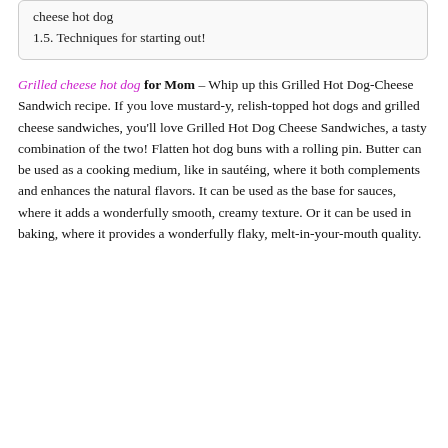cheese hot dog
1.5. Techniques for starting out!
Grilled cheese hot dog for Mom – Whip up this Grilled Hot Dog-Cheese Sandwich recipe. If you love mustard-y, relish-topped hot dogs and grilled cheese sandwiches, you'll love Grilled Hot Dog Cheese Sandwiches, a tasty combination of the two! Flatten hot dog buns with a rolling pin. Butter can be used as a cooking medium, like in sautéing, where it both complements and enhances the natural flavors. It can be used as the base for sauces, where it adds a wonderfully smooth, creamy texture. Or it can be used in baking, where it provides a wonderfully flaky, melt-in-your-mouth quality.